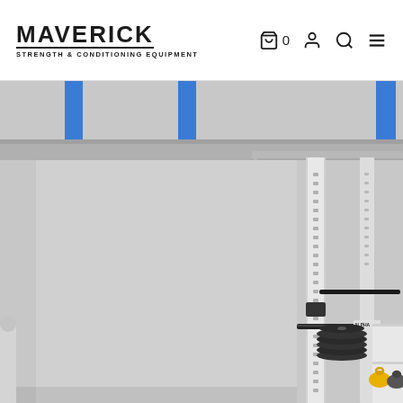MAVERICK STRENGTH & CONDITIONING EQUIPMENT — navigation with cart, account, search, menu icons
[Figure (photo): Interior of a strength and conditioning gym/garage. White power rack upright with numbered holes visible in center-left. Background wall is light grey. Blue vertical support columns visible at top. Ceiling shows silver/grey garage door track and brackets. Right side shows weight plates stacked on a rack, a barbell on j-hooks, and kettlebells (yellow and grey/black) on white shelving. An ALPHA-style label is visible on the rack.]